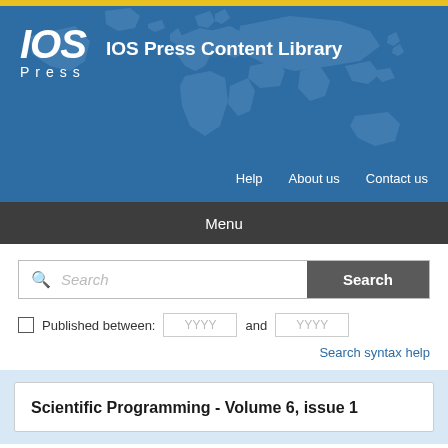[Figure (logo): IOS Press logo with world map background and site title 'IOS Press Content Library']
Menu
Search [search box] [Search button] Published between: YYYY and YYYY Search syntax help
Scientific Programming - Volume 6, issue 1